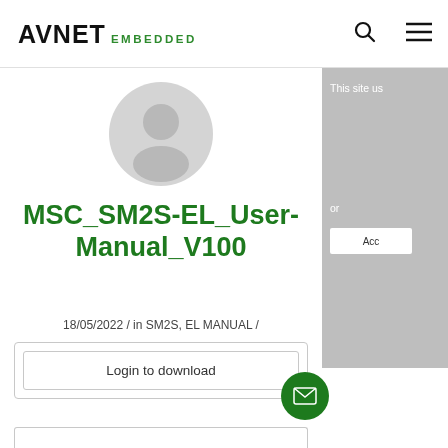AVNET EMBEDDED
[Figure (illustration): Gray circular avatar/user profile icon]
MSC_SM2S-EL_User-Manual_V100
18/05/2022 / in SM2S, EL MANUAL /
Login to download